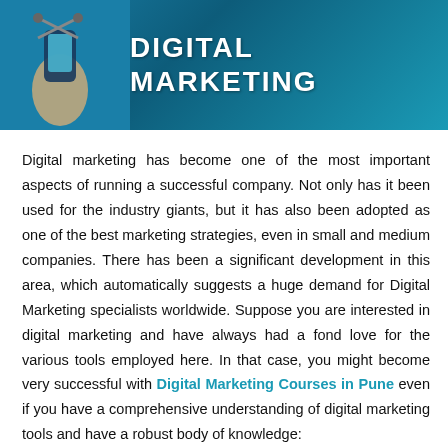[Figure (illustration): Banner image with teal/blue gradient background showing a hand holding scissors or a tool, with bold white uppercase text reading 'DIGITAL MARKETING']
Digital marketing has become one of the most important aspects of running a successful company. Not only has it been used for the industry giants, but it has also been adopted as one of the best marketing strategies, even in small and medium companies. There has been a significant development in this area, which automatically suggests a huge demand for Digital Marketing specialists worldwide. Suppose you are interested in digital marketing and have always had a fond love for the various tools employed here. In that case, you might become very successful with Digital Marketing Courses in Pune even if you have a comprehensive understanding of digital marketing tools and have a robust body of knowledge: